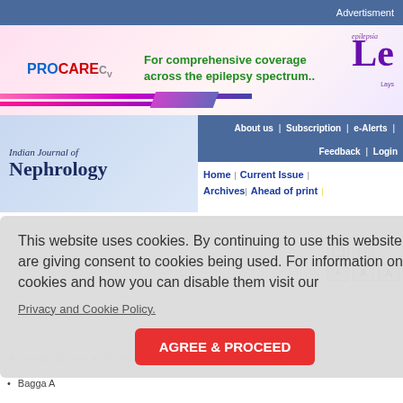Advertisment
[Figure (illustration): ProCare CV advertisement banner with tagline 'For comprehensive coverage across the epilepsy spectrum..' and partial 'Le' brand logo]
About us | Subscription | e-Alerts | Feedback | Login
[Figure (logo): Indian Journal of Nephrology journal logo with blue gradient background]
Home | Current Issue | Archives| Ahead of print |
This website uses cookies. By continuing to use this website you are giving consent to cookies being used. For information on cookies and how you can disable them visit our
Privacy and Cookie Policy.
AGREE & PROCEED
Bagga A